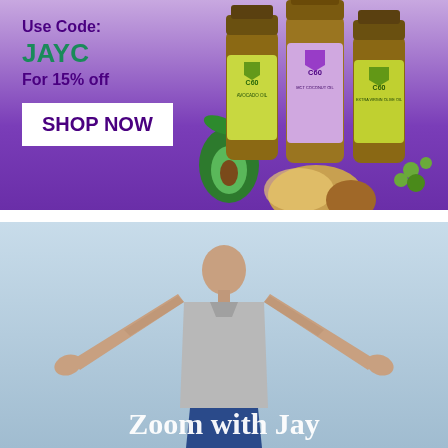[Figure (infographic): Advertisement banner with purple/lavender gradient background showing C60 oil product bottles (avocado oil, MCT coconut oil, extra virgin olive oil) on the right side, and promotional text on the left: 'Use Code: JAYC For 15% off' with a 'SHOP NOW' button. Green and purple color accents.]
[Figure (photo): Photograph of a man with arms spread wide, seen from behind, wearing a sleeveless gray shirt, against a light blue sky background. Text overlay at the bottom reads 'Zoom with Jay' in white bold serif font.]